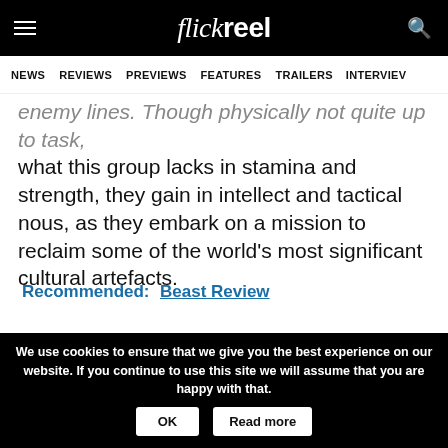flickreel
NEWS   REVIEWS   PREVIEWS   FEATURES   TRAILERS   INTERVIEWS
enemy lines. Though physically not quite up to task, what this group lacks in stamina and strength, they gain in intellect and tactical nous, as they embark on a mission to reclaim some of the world's most significant cultural artefacts.
Recommended:  Beast Review
Though the story – which is based on real events – is captivating and somewhat incredible, Clooney
We use cookies to ensure that we give you the best experience on our website. If you continue to use this site we will assume that you are happy with that.